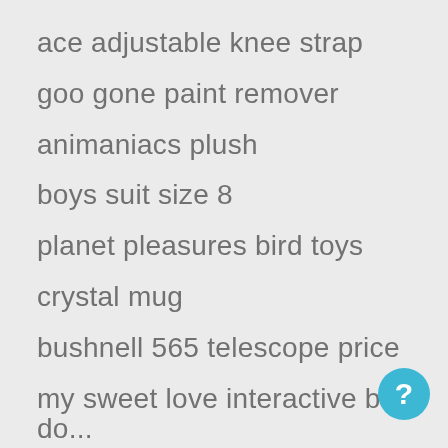ace adjustable knee strap
goo gone paint remover
animaniacs plush
boys suit size 8
planet pleasures bird toys
crystal mug
bushnell 565 telescope price
my sweet love interactive baby do...
lacoste slim fit polo men
imagination movers dvd
pflueger reel
can am commander doors